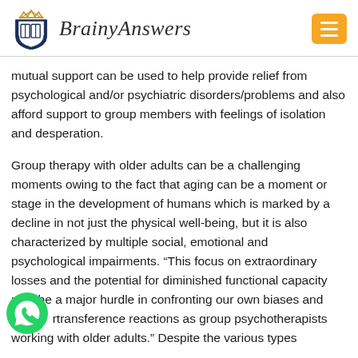BrainyAnswers
mutual support can be used to help provide relief from psychological and/or psychiatric disorders/problems and also afford support to group members with feelings of isolation and desperation.
Group therapy with older adults can be a challenging moments owing to the fact that aging can be a moment or stage in the development of humans which is marked by a decline in not just the physical well-being, but it is also characterized by multiple social, emotional and psychological impairments. “This focus on extraordinary losses and the potential for diminished functional capacity may be a major hurdle in confronting our own biases and countertransference reactions as group psychotherapists working with older adults.” Despite the various types
[Figure (logo): WhatsApp contact button icon in green circle at bottom left]